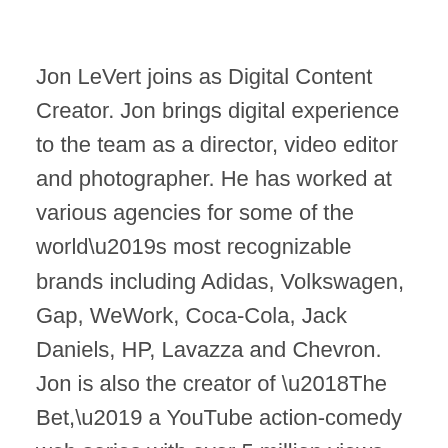Jon LeVert joins as Digital Content Creator. Jon brings digital experience to the team as a director, video editor and photographer. He has worked at various agencies for some of the world's most recognizable brands including Adidas, Volkswagen, Gap, WeWork, Coca-Cola, Jack Daniels, HP, Lavazza and Chevron. Jon is also the creator of ‘The Bet,’ a YouTube action-comedy web series with over 5 million views and the founder of Blackstone Avenue, a content production collective.